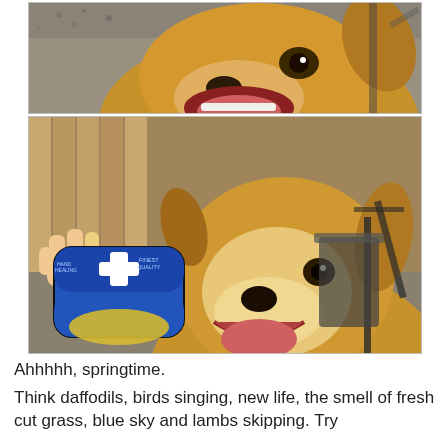[Figure (photo): Top photo: close-up of a happy golden/tan dog with mouth wide open, tongue visible, against a gravel and outdoor chair background.]
[Figure (photo): Bottom photo: a hand holding a small blue tin labeled 'FIRST AID HEALING OINTMENT' with a white cross symbol, in front of a happy tan/white dog looking up with mouth open, outdoors with fence and patio chair background.]
Ahhhhh, springtime.
Think daffodils, birds singing, new life, the smell of fresh cut grass, blue sky and lambs skipping. Try